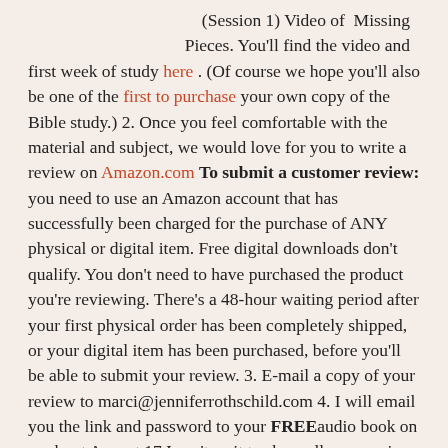(Session 1) Video of Missing Pieces. You'll find the video and first week of study here . (Of course we hope you'll also be one of the first to purchase your own copy of the Bible study.) 2. Once you feel comfortable with the material and subject, we would love for you to write a review on Amazon.com To submit a customer review: you need to use an Amazon account that has successfully been charged for the purchase of ANY physical or digital item. Free digital downloads don't qualify. You don't need to have purchased the product you're reviewing. There's a 48-hour waiting period after your first physical order has been completely shipped, or your digital item has been purchased, before you'll be able to submit your review. 3. E-mail a copy of your review to marci@jenniferrothschild.com 4. I will email you the link and password to your FREEaudio book on or about August 17 I can't wait to share all your reviews with Jennifer. Blessings. Marci P.S. Don't have an account at